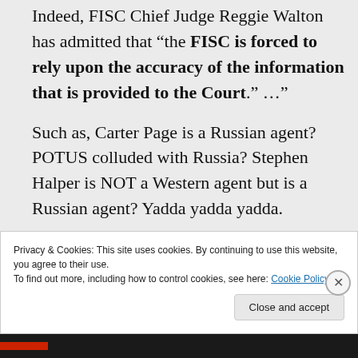Indeed, FISC Chief Judge Reggie Walton has admitted that "the FISC is forced to rely upon the accuracy of the information that is provided to the Court." …"
Such as, Carter Page is a Russian agent? POTUS colluded with Russia? Stephen Halper is NOT a Western agent but is a Russian agent? Yadda yadda yadda.
Privacy & Cookies: This site uses cookies. By continuing to use this website, you agree to their use.
To find out more, including how to control cookies, see here: Cookie Policy